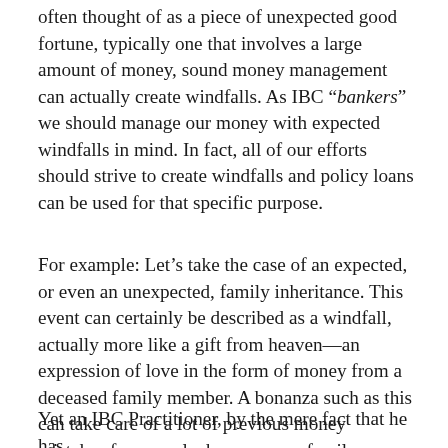often thought of as a piece of unexpected good fortune, typically one that involves a large amount of money, sound money management can actually create windfalls. As IBC “bankers” we should manage our money with expected windfalls in mind. In fact, all of our efforts should strive to create windfalls and policy loans can be used for that specific purpose.
For example: Let’s take the case of an expected, or even an unexpected, family inheritance. This event can certainly be described as a windfall, actually more like a gift from heaven—an expression of love in the form of money from a deceased family member. A bonanza such as this can take care of a lot of previous money mistakes for some lucky person or family.
Yet an IBC Practitioner, by the mere fact that he has